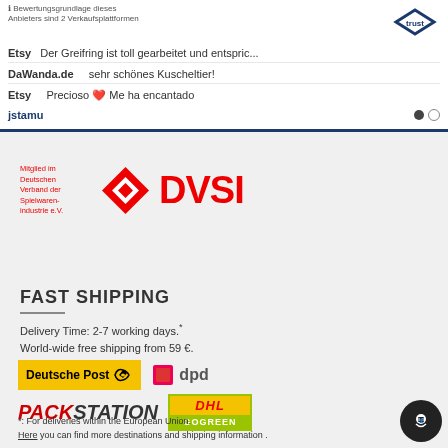[Figure (screenshot): Trustami review widget showing reviews from Etsy and DaWanda.de platforms, with a blue bottom border and pagination dots]
[Figure (logo): DVSI logo - Deutscher Verband der Spielwaren-Industrie e.V. - red diamond shape with DVSI text in red]
FAST SHIPPING
Delivery Time: 2-7 working days.* World-wide free shipping from 59 €.
[Figure (logo): Shipping logos: Deutsche Post yellow logo, DPD logo, PACKSTATION logo in red/black italic, DHL GoGreen logo]
*: For deliveries within the European Union. Here you can find more destinations and shipping information .